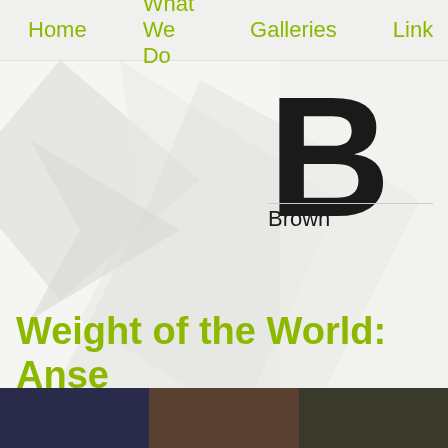Home   What We Do   Galleries   Links
[Figure (logo): Large bold letter B with 'Brown' text below and a divider line, partial logo of Brown Academy]
Weight of the World: Anse... Academy
Posted on 2014-10-06
[Figure (photo): Three small thumbnail images at the bottom of the page]